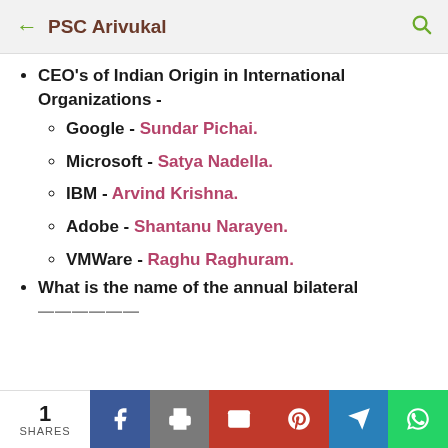PSC Arivukal
CEO's of Indian Origin in International Organizations -
Google - Sundar Pichai.
Microsoft - Satya Nadella.
IBM - Arvind Krishna.
Adobe - Shantanu Narayen.
VMWare - Raghu Raghuram.
What is the name of the annual bilateral
1 SHARES